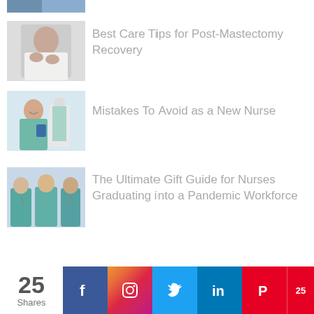[Figure (photo): Partial photo at top, cropped medical professional]
[Figure (photo): Person with hands on chest, post-mastectomy recovery]
Best Care Tips for Post-Mastectomy Recovery
[Figure (photo): Smiling nurse with clipboard and colleagues in background]
Mistakes To Avoid as a New Nurse
[Figure (photo): Three nurses in teal scrubs smiling together]
The Ultimate Gift Guide for Nurses Graduating into a Pandemic Workforce
25 Shares
[Figure (infographic): Social media sharing bar with Facebook, Instagram, Twitter, LinkedIn, Pinterest icons and count 25]